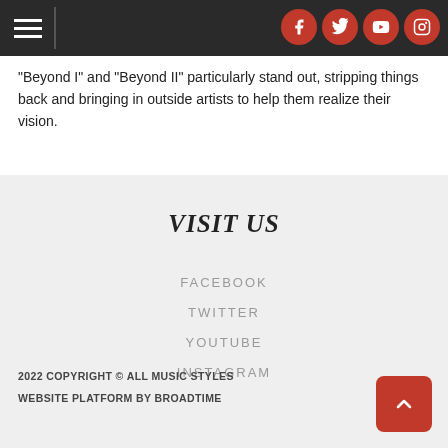Navigation header with hamburger menu and social icons (Facebook, Twitter, YouTube, Instagram)
'Beyond I' and 'Beyond II' particularly stand out, stripping things back and bringing in outside artists to help them realize their vision.
VISIT US
FACEBOOK
TWITTER
YOUTUBE
INSTAGRAM
2022 COPYRIGHT © ALL MUSIC STYLES
WEBSITE PLATFORM BY BROADTIME